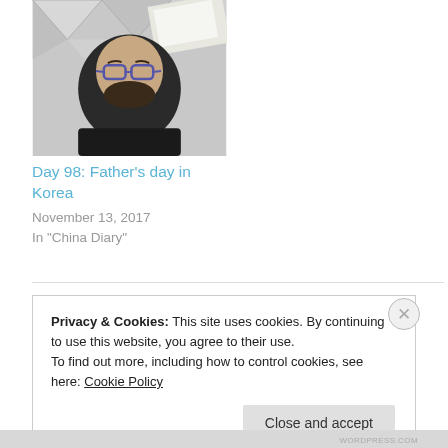[Figure (photo): Selfie photo of a bearded man with glasses in an interior space with geometric ceiling]
Day 98: Father's day in Korea
November 13, 2017
In "China Diary"
Privacy & Cookies: This site uses cookies. By continuing to use this website, you agree to their use.
To find out more, including how to control cookies, see here: Cookie Policy
Close and accept